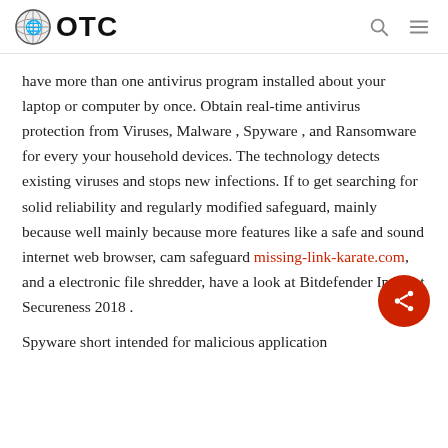OTC
have more than one antivirus program installed about your laptop or computer by once. Obtain real-time antivirus protection from Viruses, Malware , Spyware , and Ransomware for every your household devices. The technology detects existing viruses and stops new infections. If to get searching for solid reliability and regularly modified safeguard, mainly because well mainly because more features like a safe and sound internet web browser, cam safeguard missing-link-karate.com, and a electronic file shredder, have a look at Bitdefender Internet Secureness 2018 .
Spyware short intended for malicious application